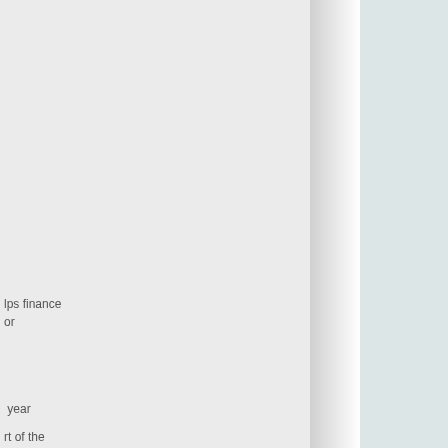lps finance or
year rt of the
are other ical and